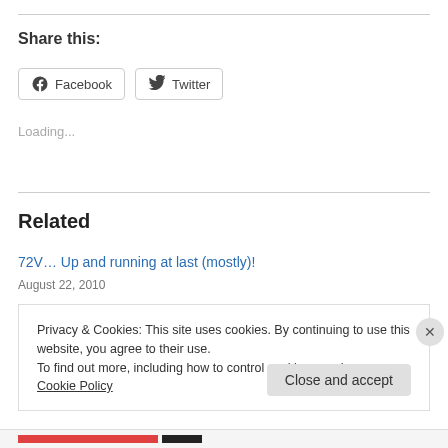Share this:
[Figure (other): Social share buttons: Facebook and Twitter]
Loading...
Related
72V… Up and running at last (mostly)!
August 22, 2010
Privacy & Cookies: This site uses cookies. By continuing to use this website, you agree to their use.
To find out more, including how to control cookies, see here: Cookie Policy